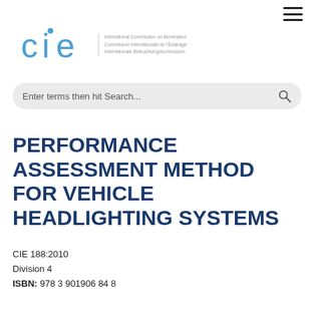[Figure (logo): CIE (International Commission on Illumination / Commission Internationale de l'Éclairage / Internationale Beleuchtungskommission) logo with blue stylized 'cie' text and dot above 'i', alongside three lines of organization names in grey]
Enter terms then hit Search...
PERFORMANCE ASSESSMENT METHOD FOR VEHICLE HEADLIGHTING SYSTEMS
CIE 188:2010
Division 4
ISBN: 978 3 901906 84 8